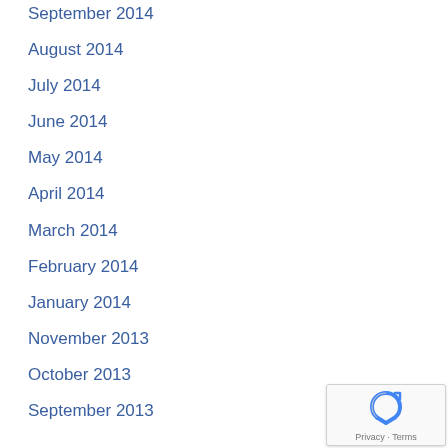September 2014
August 2014
July 2014
June 2014
May 2014
April 2014
March 2014
February 2014
January 2014
November 2013
October 2013
September 2013